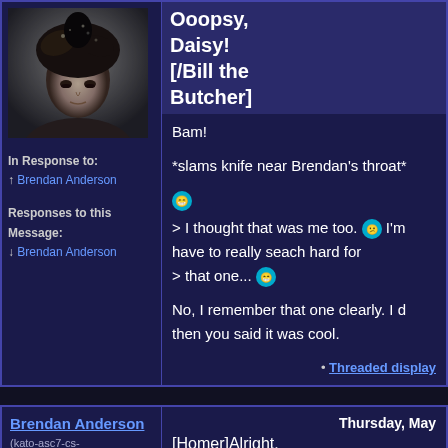[Figure (photo): Black and white vintage photo of a person with a dark feathered or textured hat/headdress, looking downward]
Ooopsy, Daisy! [/Bill the Butcher]
In Response to:
↑ Brendan Anderson
Responses to this Message:
↓ Brendan Anderson
Bam!

*slams knife near Brendan's throat*

> I thought that was me too. I'm have to really seach hard for
> that one...

No, I remember that one clearly. I d then you said it was cool.
• Threaded display
Brendan Anderson
(kato-asc7-cs-
Thursday, May
[Homer]Alright.